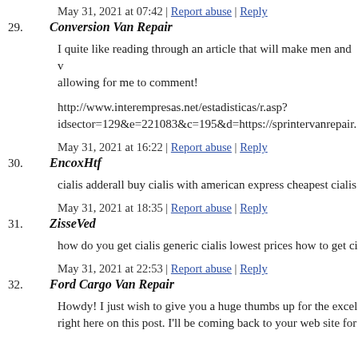May 31, 2021 at 07:42 | Report abuse | Reply
29. Conversion Van Repair
I quite like reading through an article that will make men and w... allowing for me to comment!
http://www.interempresas.net/estadisticas/r.asp?idsector=129&e=221083&c=195&d=https://sprintervanrepair.
May 31, 2021 at 16:22 | Report abuse | Reply
30. EncoxHtf
cialis adderall buy cialis with american express cheapest cialis
May 31, 2021 at 18:35 | Report abuse | Reply
31. ZisseVed
how do you get cialis generic cialis lowest prices how to get ci
May 31, 2021 at 22:53 | Report abuse | Reply
32. Ford Cargo Van Repair
Howdy! I just wish to give you a huge thumbs up for the excel right here on this post. I'll be coming back to your web site for